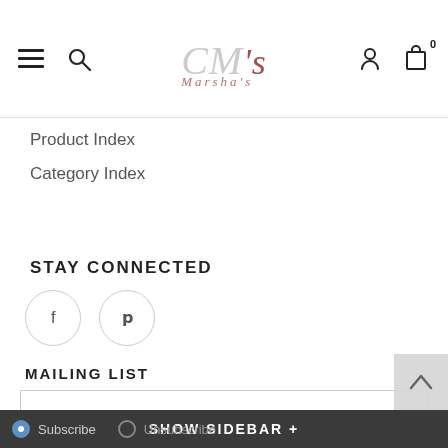[Figure (screenshot): Website header with hamburger menu, search icon, Marsha's logo (stylized CM with script), user icon, and cart icon with badge 0]
Product Index
Category Index
STAY CONNECTED
[Figure (illustration): Two social media icons in circles: Facebook (f) and Pinterest (p)]
MAILING LIST
Enter your email here
GO
Subscribe   Unsubscribe   SHOW SIDEBAR +